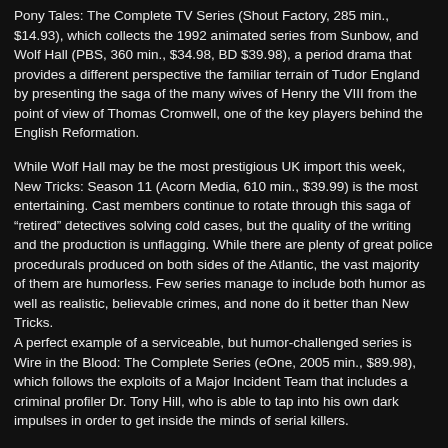Pony Tales: The Complete TV Series (Shout Factory, 285 min., $14.93), which collects the 1992 animated series from Sunbow, and Wolf Hall (PBS, 360 min., $34.98, BD $39.98), a period drama that provides a different perspective the familiar terrain of Tudor England by presenting the saga of the many wives of Henry the VIII from the point of view of Thomas Cromwell, one of the key players behind the English Reformation.
While Wolf Hall may be the most prestigious UK import this week, New Tricks: Season 11 (Acorn Media, 610 min., $39.99) is the most entertaining. Cast members continue to rotate through this saga of “retired” detectives solving cold cases, but the quality of the writing and the production is unflagging. While there are plenty of great police procedurals produced on both sides of the Atlantic, the vast majority of them are humorless. Few series manage to include both humor as well as realistic, believable crimes, and none do it better than New Tricks.
A perfect example of a serviceable, but humor-challenged series is Wire in the Blood: The Complete Series (eOne, 2005 min., $89.98), which follows the exploits of a Major Incident Team that includes a criminal profiler Dr. Tony Hill, who is able to tap into his own dark impulses in order to get inside the minds of serial killers.
Other contemporary series due on Tuesday include the action thriller Covert Affairs-Season 5: The Final Season (Universal, $39.98), which aired on the USA cable network, the USA medical comedy/romance Royal Pains: Season 6 (Universal, 558 min., $26.98), and yet another USA series...